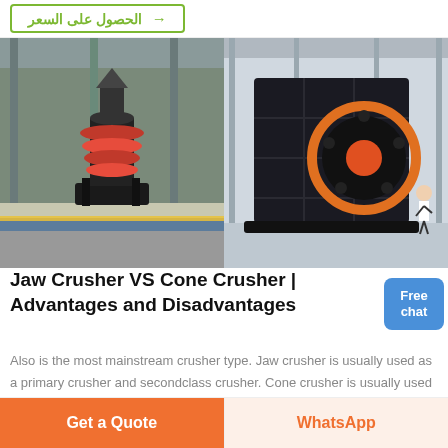→ الحصول على السعر
[Figure (photo): Two industrial crushers side by side in a factory setting. Left: cone crusher with stacked red/orange rings surrounded by crushed stone on a conveyor. Right: large impact or hammer crusher with circular rotor and orange center, in a factory hall.]
Jaw Crusher VS Cone Crusher | Advantages and Disadvantages
Also is the most mainstream crusher type. Jaw crusher is usually used as a primary crusher and secondclass crusher. Cone crusher is usually used as secondary crusher or threestage crusher machine. Jaw crusher and cone crusher are usually arranged on the stone crusher plant in two stages. Jaw crusher breaks the rock to 10 ~ 30